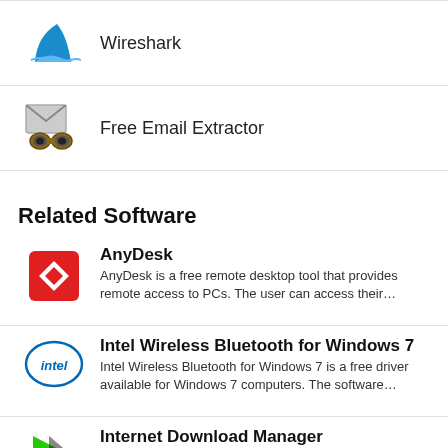Wireshark
Free Email Extractor
Related Software
AnyDesk — AnyDesk is a free remote desktop tool that provides remote access to PCs. The user can access their…
Intel Wireless Bluetooth for Windows 7 — Intel Wireless Bluetooth for Windows 7 is a free driver available for Windows 7 computers. The software…
Internet Download Manager — Internet Download Manager is a powerful program used to accelerate video downloads. With this